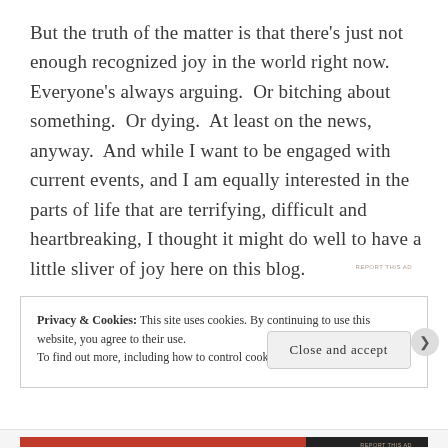But the truth of the matter is that there’s just not enough recognized joy in the world right now. Everyone’s always arguing. Or bitching about something. Or dying. At least on the news, anyway. And while I want to be engaged with current events, and I am equally interested in the parts of life that are terrifying, difficult and heartbreaking, I thought it might do well to have a little sliver of joy here on this blog.
REPORT THIS AD
Privacy & Cookies: This site uses cookies. By continuing to use this website, you agree to their use.
To find out more, including how to control cookies, see here: Cookie Policy
Close and accept